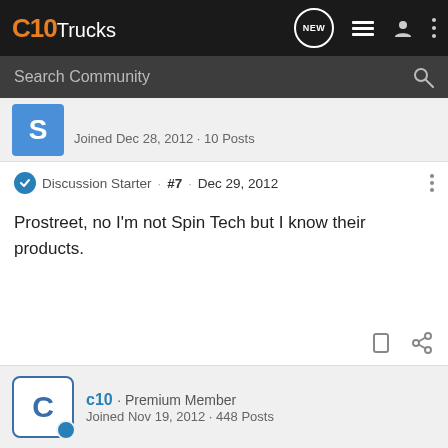C10 Trucks — navigation bar with search
Joined Dec 28, 2012 · 10 Posts
Discussion Starter · #7 · Dec 29, 2012
Prostreet, no I'm not Spin Tech but I know their products.
c10 · Premium Member
Joined Nov 19, 2012 · 448 Posts